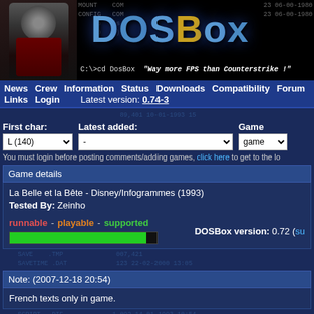[Figure (screenshot): DOSBox website header banner with logo, villain character image on left, DOS command text in background, tagline 'Way more FPS than Counterstrike!']
News  Crew  Information  Status  Downloads  Compatibility  Forum
Links  Login   Latest version: 0.74-3
First char:  Latest added:
L (140)  -
You must login before posting comments/adding games, click here to get to the lo
Game details
La Belle et la Bête - Disney/Infogrammes (1993)
Tested By: Zeinho
runnable - playable - supported
DOSBox version: 0.72 (su
Note: (2007-12-18 20:54)
French texts only in game.